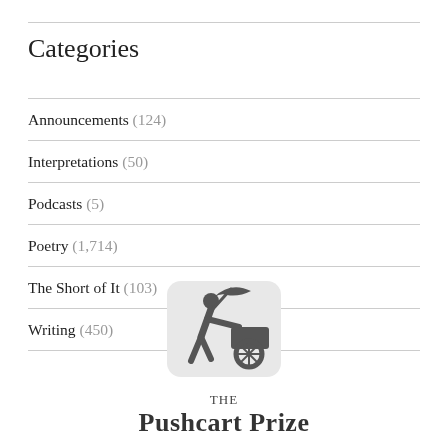Categories
Announcements (124)
Interpretations (50)
Podcasts (5)
Poetry (1,714)
The Short of It (103)
Writing (450)
[Figure (logo): The Pushcart Prize logo: a silhouette of a person pushing a cart with an umbrella, inside a rounded rectangle, with text 'THE Pushcart Prize' below]